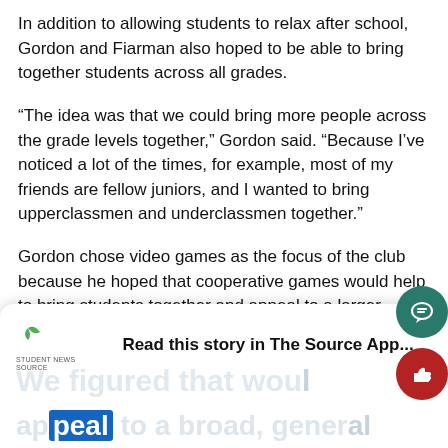In addition to allowing students to relax after school, Gordon and Fiarman also hoped to be able to bring together students across all grades.
“The idea was that we could bring more people across the grade levels together,” Gordon said. “Because I’ve noticed a lot of the times, for example, most of my friends are fellow juniors, and I wanted to bring upperclassmen and underclassmen together.”
Gordon chose video games as the focus of the club because he hoped that cooperative games would help to bring students together and appeal to a larger demographic.
[Figure (screenshot): App banner overlay for 'The Source' student news app, with logo, title 'Read this story in The Source App...', watermark text 'We figured that would' and partial bottom text 'appeal to a broad, general']